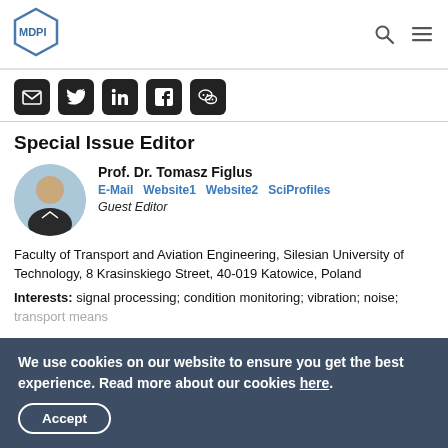MDPI
[Figure (logo): MDPI logo — hexagonal shape with MDPI text]
Social sharing icons: Email, Twitter, LinkedIn, Facebook, WeChat
Special Issue Editor
Prof. Dr. Tomasz Figlus
E-Mail   Website1   Website2   SciProfiles
Guest Editor
Faculty of Transport and Aviation Engineering, Silesian University of Technology, 8 Krasinskiego Street, 40-019 Katowice, Poland
Interests: signal processing; condition monitoring; vibration; noise; transport means
We use cookies on our website to ensure you get the best experience. Read more about our cookies here.
Accept